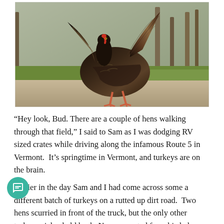[Figure (photo): A wild turkey with dark brown and black plumage, fanned tail feathers raised, walking on a gravel path with green grass and trees in the background.]
“Hey look, Bud. There are a couple of hens walking through that field,” I said to Sam as I was dodging RV sized crates while driving along the infamous Route 5 in Vermont.  It’s springtime in Vermont, and turkeys are on the brain.
Earlier in the day Sam and I had come across some a different batch of turkeys on a rutted up dirt road.  Two hens scurried in front of the truck, but the only other turkey, a jake, held back. Now separated from his lady